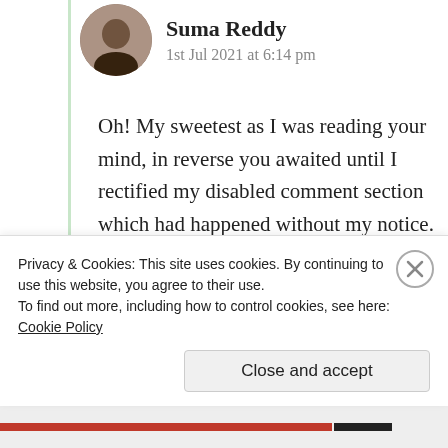[Figure (photo): Circular avatar photo of Suma Reddy]
Suma Reddy
1st Jul 2021 at 6:14 pm
Oh! My sweetest as I was reading your mind, in reverse you awaited until I rectified my disabled comment section which had happened without my notice.
I am very very happy n my heartfelt gratitude for your precious priceless
Privacy & Cookies: This site uses cookies. By continuing to use this website, you agree to their use.
To find out more, including how to control cookies, see here: Cookie Policy
Close and accept